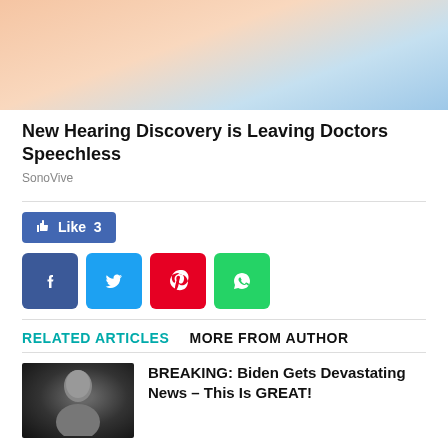[Figure (illustration): Advertisement image showing a hand/ear with pills, with blue and peach tones background]
New Hearing Discovery is Leaving Doctors Speechless
SonoVive
[Figure (infographic): Facebook Like button showing Like 3, and social share icons for Facebook, Twitter, Pinterest, WhatsApp]
RELATED ARTICLES   MORE FROM AUTHOR
[Figure (photo): Thumbnail photo of an older man (Biden) in a dark suit against dark background]
BREAKING: Biden Gets Devastating News – This Is GREAT!